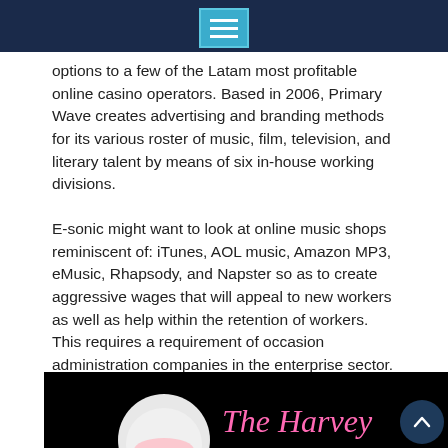[Navigation bar with menu icon]
options to a few of the Latam most profitable online casino operators. Based in 2006, Primary Wave creates advertising and branding methods for its various roster of music, film, television, and literary talent by means of six in-house working divisions.
E-sonic might want to look at online music shops reminiscent of: iTunes, AOL music, Amazon MP3, eMusic, Rhapsody, and Napster so as to create aggressive wages that will appeal to new workers as well as help within the retention of workers. This requires a requirement of occasion administration companies in the enterprise sector.
[Figure (photo): Dark/black background image with a hedgehog mascot illustration in white and pink, and the text 'The Harvey' in pink italic script font.]